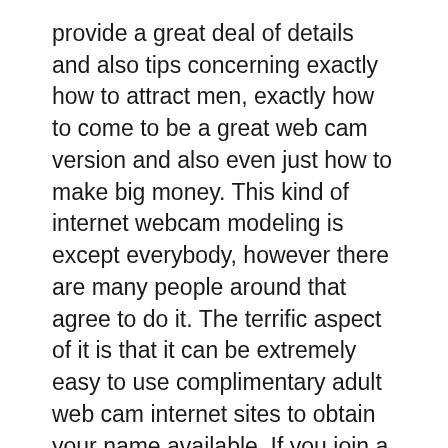provide a great deal of details and also tips concerning exactly how to attract men, exactly how to come to be a great web cam version and also even just how to make big money. This kind of internet webcam modeling is except everybody, however there are many people around that agree to do it. The terrific aspect of it is that it can be extremely easy to use complimentary adult web cam internet sites to obtain your name available. If you join a prominent internet site with a great track record, after that you will be making great deals of money quickly in all.
Grown-up websites are coming to be extra acceptable, even among conventional kinds of people. Lots of typical adult websites will